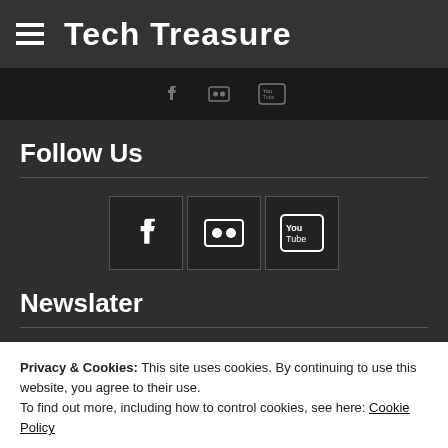Tech Treasure
[Figure (other): Social media navigation bar with Facebook, Flickr, and YouTube icons in dark bar]
Follow Us
[Figure (other): Social media share buttons: Facebook, Flickr, YouTube icons in bordered boxes]
Newslater
Privacy & Cookies: This site uses cookies. By continuing to use this website, you agree to their use. To find out more, including how to control cookies, see here: Cookie Policy
Close and accept